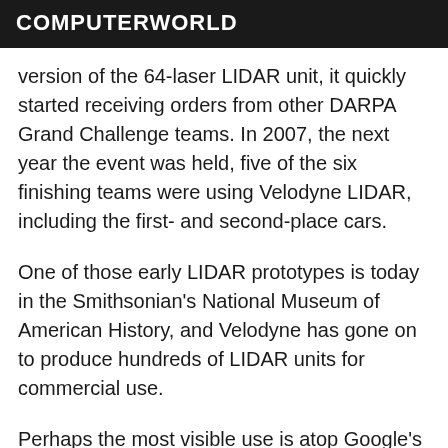COMPUTERWORLD
version of the 64-laser LIDAR unit, it quickly started receiving orders from other DARPA Grand Challenge teams. In 2007, the next year the event was held, five of the six finishing teams were using Velodyne LIDAR, including the first- and second-place cars.
One of those early LIDAR prototypes is today in the Smithsonian's National Museum of American History, and Velodyne has gone on to produce hundreds of LIDAR units for commercial use.
Perhaps the most visible use is atop Google's driverless cars. At any time there are about a dozen of the vehicles on the roads of Northern California. They